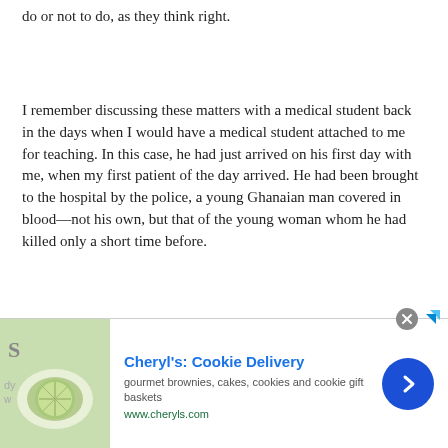do or not to do, as they think right.
I remember discussing these matters with a medical student back in the days when I would have a medical student attached to me for teaching. In this case, he had just arrived on his first day with me, when my first patient of the day arrived. He had been brought to the hospital by the police, a young Ghanaian man covered in blood—not his own, but that of the young woman whom he had killed only a short time before.
The Ghanaian was an illegal immigrant. I am opposed to illegal immigration in principle, but whenever I meet an
[Figure (infographic): Advertisement banner for Cheryl's Cookie Delivery showing a cookie/food image on left, ad title 'Cheryl's: Cookie Delivery', description 'gourmet brownies, cakes, cookies and cookie gift baskets', URL 'www.cheryls.com', and a blue circular arrow button on the right. A close (X) button appears at the top right of the banner.]